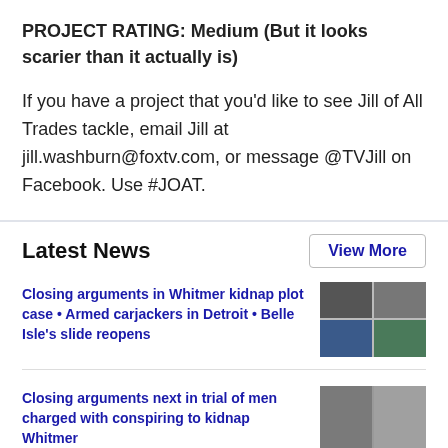PROJECT RATING:  Medium (But it looks scarier than it actually is)
If you have a project that you'd like to see Jill of All Trades tackle, email Jill at jill.washburn@foxtv.com, or message @TVJill on Facebook. Use #JOAT.
Latest News
View More
Closing arguments in Whitmer kidnap plot case • Armed carjackers in Detroit • Belle Isle's slide reopens
[Figure (photo): Grid of four news photos: mugshots and scene photos related to Whitmer kidnap plot and Detroit news]
Closing arguments next in trial of men charged with conspiring to kidnap Whitmer
[Figure (photo): Two mugshot photos of men charged with conspiring to kidnap Whitmer]